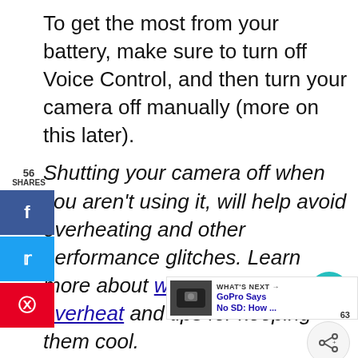To get the most from your battery, make sure to turn off Voice Control, and then turn your camera off manually (more on this later).
Shutting your camera off when you aren't using it, will help avoid overheating and other performance glitches. Learn more about why GoPro cameras overheat and tips for keeping them cool.
Here's the full guide to each GoPro camera, from the Hero5 to the Hero8